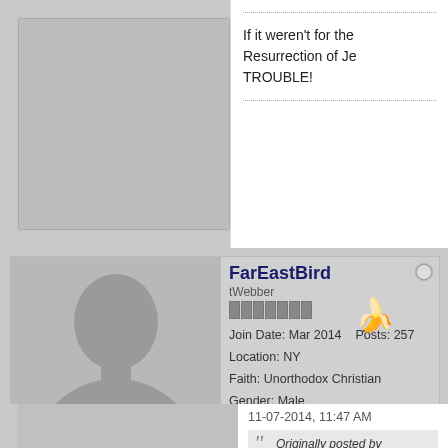[Figure (photo): Generic silhouette avatar placeholder for a user profile, grey background]
If it weren't for the Resurrection of Je... TROUBLE!
[Figure (photo): Generic silhouette avatar for FarEastBird user profile]
FarEastBird
tWebber
Join Date: Mar 2014    Posts: 257
Location: NY
Faith: Unorthodox Christian
Gender: Male
Amens Received: 0
Amens Given: 0
11-07-2014, 11:47 AM
Originally posted by Christian... The emphasis on esoteric pro... haven't even heard of it before...